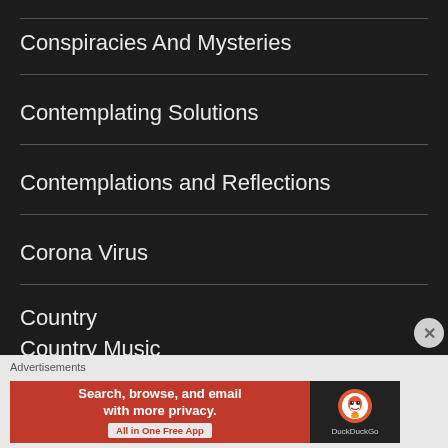Conspiracies And Mysteries
Contemplating Solutions
Contemplations and Reflections
Corona Virus
Country
Country Music
Advertisements
[Figure (infographic): DuckDuckGo advertisement banner: 'Search, browse, and email with more privacy. All in One Free App' with DuckDuckGo logo on dark background]